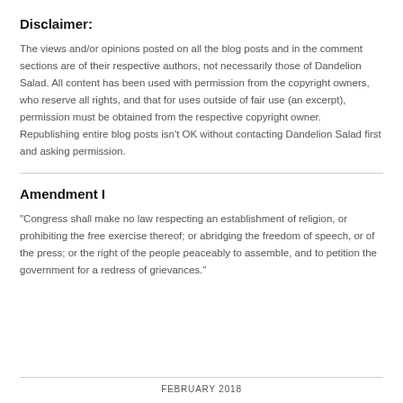Disclaimer:
The views and/or opinions posted on all the blog posts and in the comment sections are of their respective authors, not necessarily those of Dandelion Salad. All content has been used with permission from the copyright owners, who reserve all rights, and that for uses outside of fair use (an excerpt), permission must be obtained from the respective copyright owner. Republishing entire blog posts isn't OK without contacting Dandelion Salad first and asking permission.
Amendment I
"Congress shall make no law respecting an establishment of religion, or prohibiting the free exercise thereof; or abridging the freedom of speech, or of the press; or the right of the people peaceably to assemble, and to petition the government for a redress of grievances."
FEBRUARY 2018